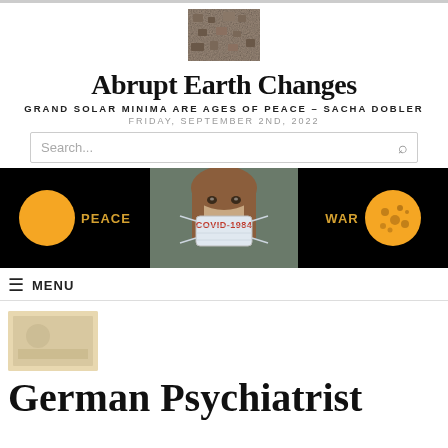[Figure (photo): Small grainy photo used as site logo for Abrupt Earth Changes blog]
Abrupt Earth Changes
GRAND SOLAR MINIMA ARE AGES OF PEACE – SACHA DOBLER
FRIDAY, SEPTEMBER 2ND, 2022
[Figure (screenshot): Search bar with placeholder text 'Search...' and a search icon]
[Figure (infographic): Banner image showing left panel: yellow sun circle with text PEACE on black background; center panel: person wearing COVID-1984 face mask; right panel: text WAR with spotted/sunspotted sun on black background]
MENU
[Figure (photo): Small post thumbnail image]
German Psychiatrist